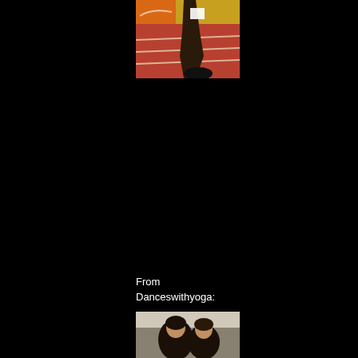[Figure (photo): Cropped photo of an athlete running on a red track, showing legs and lower body, with orange/yellow background signage visible]
From
Danceswithyoga:
[Figure (photo): Partial photo showing two people, dark background, appears to be an intimate or emotional moment]